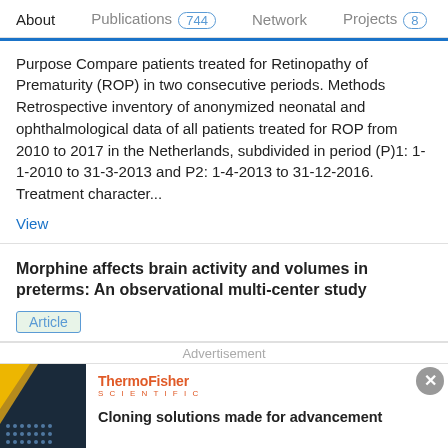About   Publications 744   Network   Projects 8
Purpose Compare patients treated for Retinopathy of Prematurity (ROP) in two consecutive periods. Methods Retrospective inventory of anonymized neonatal and ophthalmological data of all patients treated for ROP from 2010 to 2017 in the Netherlands, subdivided in period (P)1: 1-1-2010 to 31-3-2013 and P2: 1-4-2013 to 31-12-2016. Treatment character...
View
Morphine affects brain activity and volumes in preterms: An observational multi-center study
Article
Advertisement
[Figure (screenshot): ThermoFisher Scientific advertisement for Cloning solutions. Left side shows a dark blue background with yellow diagonal stripe and a 'Cloning' label. Right side shows ThermoFisher Scientific logo in orange and text 'Cloning solutions made for advancement'.]